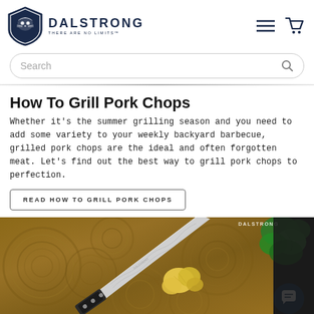[Figure (logo): Dalstrong lion shield logo with text DALSTRONG and tagline THERE ARE NO LIMITS]
[Figure (other): Hamburger menu icon and shopping cart icon in dark navy blue]
[Figure (other): Search bar with rounded border and magnifying glass icon]
How To Grill Pork Chops
Whether it's the summer grilling season and you need to add some variety to your weekly backyard barbecue, grilled pork chops are the ideal and often forgotten meat. Let's find out the best way to grill pork chops to perfection.
READ HOW TO GRILL PORK CHOPS
[Figure (photo): Overhead photo of a wooden cutting board with a Damascus steel chef knife, sliced ginger, and fresh herbs. Dalstrong watermark in top right. Chat support bubble in bottom right.]